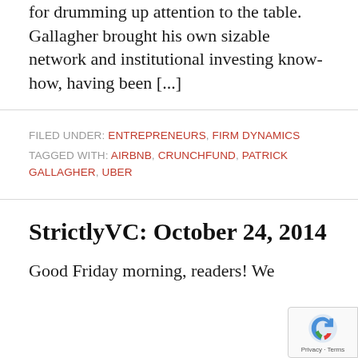for drumming up attention to the table. Gallagher brought his own sizable network and institutional investing know-how, having been [...]
FILED UNDER: ENTREPRENEURS, FIRM DYNAMICS
TAGGED WITH: AIRBNB, CRUNCHFUND, PATRICK GALLAGHER, UBER
StrictlyVC: October 24, 2014
Good Friday morning, readers! We